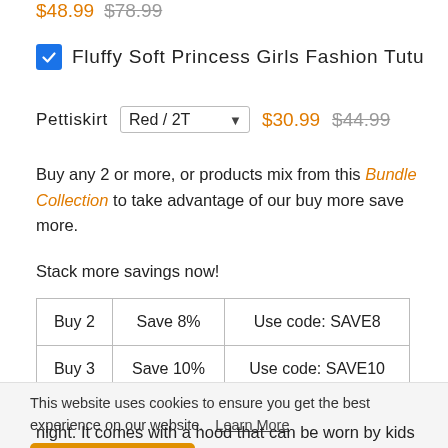$48.99  $78.99
☑ Fluffy Soft Princess Girls Fashion Tutu
Pettiskirt  Red / 2T  $30.99  $44.99
Buy any 2 or more, or products mix from this Bundle Collection to take advantage of our buy more save more.
Stack more savings now!
|  |  |  |
| --- | --- | --- |
| Buy 2 | Save 8% | Use code: SAVE8 |
| Buy 3 | Save 10% | Use code: SAVE10 |
This website uses cookies to ensure you get the best experience on our website. Learn More
Allow Cookies
night. It comes with a hood that can be worn by kids while they